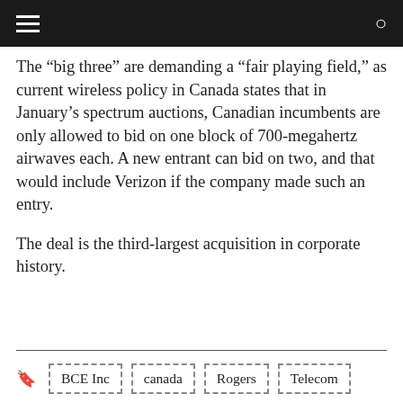The “big three” are demanding a “fair playing field,” as current wireless policy in Canada states that in January’s spectrum auctions, Canadian incumbents are only allowed to bid on one block of 700-megahertz airwaves each. A new entrant can bid on two, and that would include Verizon if the company made such an entry.
The deal is the third-largest acquisition in corporate history.
BCE Inc  canada  Rogers  Telecom